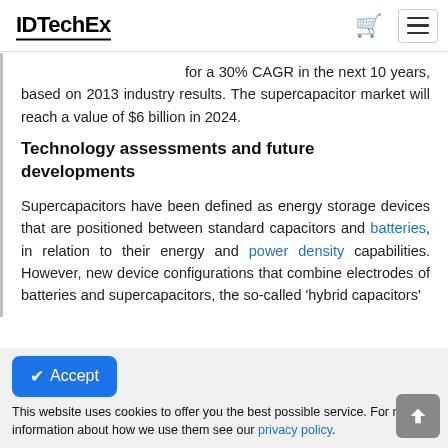IDTechEx
for a 30% CAGR in the next 10 years, based on 2013 industry results. The supercapacitor market will reach a value of $6 billion in 2024.
Technology assessments and future developments
Supercapacitors have been defined as energy storage devices that are positioned between standard capacitors and batteries, in relation to their energy and power density capabilities. However, new device configurations that combine electrodes of batteries and supercapacitors, the so-called 'hybrid capacitors'
This website uses cookies to offer you the best possible service. For more information about how we use them see our privacy policy.